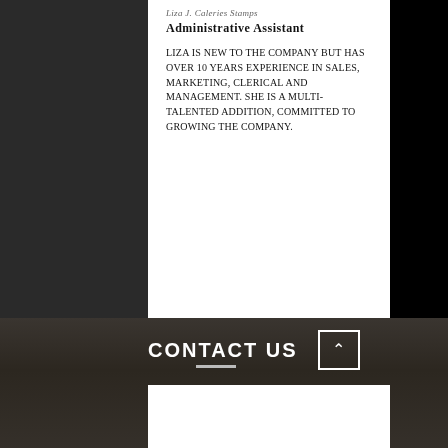Liza J. Caleries Stamps
Administrative Assistant
Liza is new to the company but has over 10 years experience in sales, marketing, clerical and management. She is a multi-talented addition, committed to growing the company.
Liza@WestarkSound.com
CONTACT US